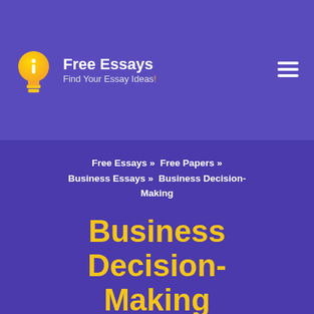Free Essays — Find Your Essay Ideas!
Free Essays » Free Papers » Business Essays » Business Decision-Making
Business Decision-Making
November 18, 2018 · Business Essays